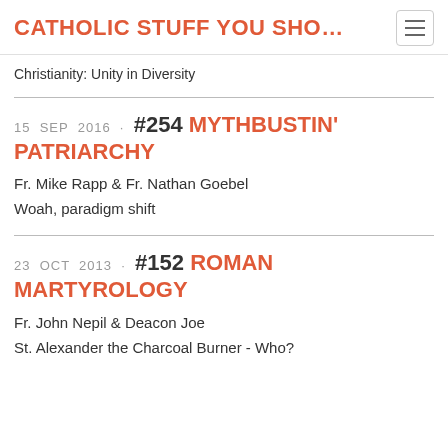CATHOLIC STUFF YOU SHO...
Christianity: Unity in Diversity
15 SEP 2016 · #254 MYTHBUSTIN' PATRIARCHY
Fr. Mike Rapp & Fr. Nathan Goebel
Woah, paradigm shift
23 OCT 2013 · #152 ROMAN MARTYROLOGY
Fr. John Nepil & Deacon Joe
St. Alexander the Charcoal Burner - Who?